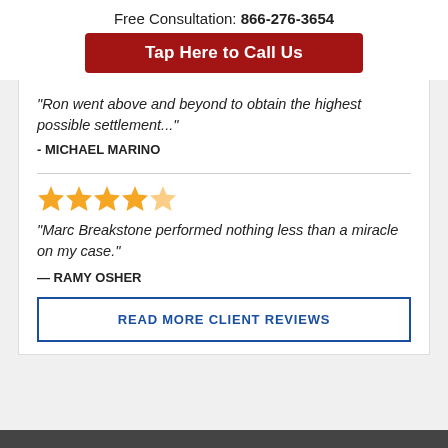Free Consultation: 866-276-3654
Tap Here to Call Us
"Ron went above and beyond to obtain the highest possible settlement..."
- MICHAEL MARINO
[Figure (other): Five orange star rating icons]
"Marc Breakstone performed nothing less than a miracle on my case."
— RAMY OSHER
READ MORE CLIENT REVIEWS